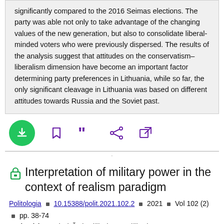significantly compared to the 2016 Seimas elections. The party was able not only to take advantage of the changing values of the new generation, but also to consolidate liberal-minded voters who were previously dispersed. The results of the analysis suggest that attitudes on the conservatism–liberalism dimension have become an important factor determining party preferences in Lithuania, while so far, the only significant cleavage in Lithuania was based on different attitudes towards Russia and the Soviet past.
[Figure (infographic): Toolbar with download (green circle with down arrow), bookmark, quote, share, and external link icon buttons in purple]
Interpretation of military power in the context of realism paradigm
Politologia □ 10.15388/polit.2021.102.2 □ 2021 □ Vol 102 (2) □ pp. 38-74
Author(s): Agnietė Žotkevičiūtė Banevičienė